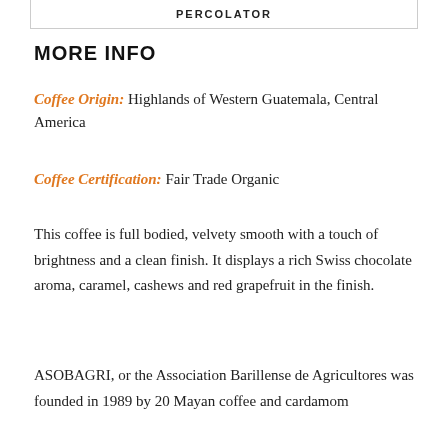PERCOLATOR
MORE INFO
Coffee Origin: Highlands of Western Guatemala, Central America
Coffee Certification: Fair Trade Organic
This coffee is full bodied, velvety smooth with a touch of brightness and a clean finish. It displays a rich Swiss chocolate aroma, caramel, cashews and red grapefruit in the finish.
ASOBAGRI, or the Association Barillense de Agricultores was founded in 1989 by 20 Mayan coffee and cardamom farmers. The association of ASOBAGRI is from...